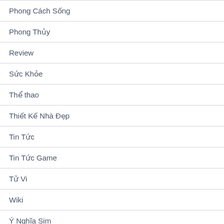Phong Cách Sống
Phong Thủy
Review
Sức Khỏe
Thể thao
Thiết Kế Nhà Đẹp
Tin Tức
Tin Tức Game
Tử Vi
Wiki
Ý Nghĩa Sim